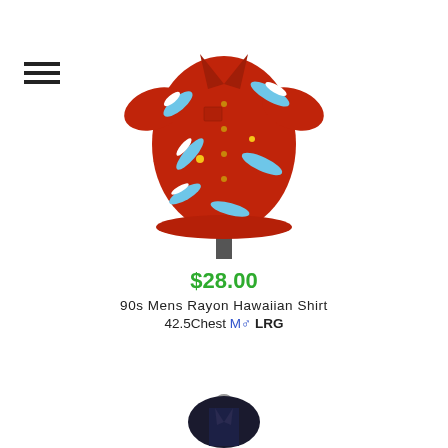[Figure (photo): Red Hawaiian shirt with blue and white tropical floral print on a mannequin/dress form, short-sleeved, button-up, displayed on white background]
$28.00
90s Mens Rayon Hawaiian Shirt
42.5Chest M♂ LRG
[Figure (photo): Dark navy/black shirt partially visible at bottom of page on a dress form mannequin]